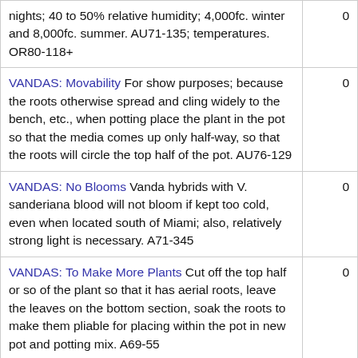| Topic/Content | Count |
| --- | --- |
| nights; 40 to 50% relative humidity; 4,000fc. winter and 8,000fc. summer. AU71-135; temperatures. OR80-118+ | 0 |
| VANDAS: Movability For show purposes; because the roots otherwise spread and cling widely to the bench, etc., when potting place the plant in the pot so that the media comes up only half-way, so that the roots will circle the top half of the pot. AU76-129 | 0 |
| VANDAS: No Blooms Vanda hybrids with V. sanderiana blood will not bloom if kept too cold, even when located south of Miami; also, relatively strong light is necessary. A71-345 | 0 |
| VANDAS: To Make More Plants Cut off the top half or so of the plant so that it has aerial roots, leave the leaves on the bottom section, soak the roots to make them pliable for placing within the pot in new pot and potting mix. A69-55 | 0 |
New Topics
Bill Overton asked question Phrag. Panther Run in category General Discussion